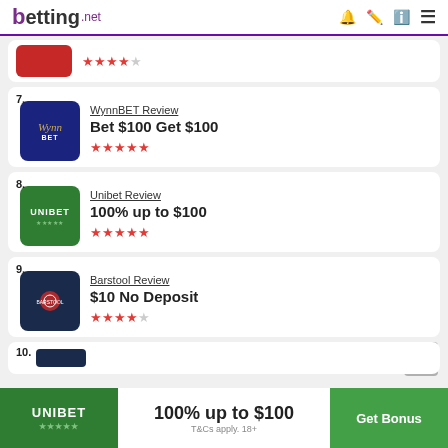betting.net
7. WynnBET Review
Bet $100 Get $100
★★★★★
8. Unibet Review
100% up to $100
★★★★★
9. Barstool Review
$10 No Deposit
★★★★☆
10. (partial)
100% up to $100
T&Cs apply. 18+
Get Bonus